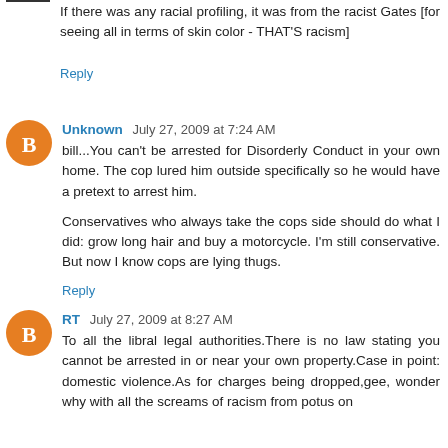If there was any racial profiling, it was from the racist Gates [for seeing all in terms of skin color - THAT'S racism]
Reply
Unknown  July 27, 2009 at 7:24 AM
bill...You can't be arrested for Disorderly Conduct in your own home. The cop lured him outside specifically so he would have a pretext to arrest him.

Conservatives who always take the cops side should do what I did: grow long hair and buy a motorcycle. I'm still conservative. But now I know cops are lying thugs.
Reply
RT  July 27, 2009 at 8:27 AM
To all the libral legal authorities.There is no law stating you cannot be arrested in or near your own property.Case in point: domestic violence.As for charges being dropped,gee, wonder why with all the screams of racism from potus on